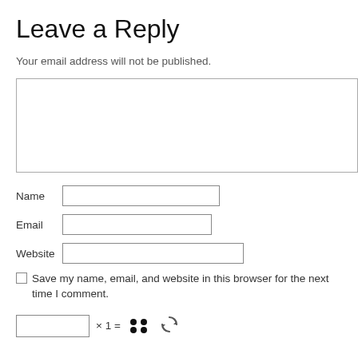Leave a Reply
Your email address will not be published.
Name [text input]
Email [text input]
Website [text input]
Save my name, email, and website in this browser for the next time I comment.
[captcha input] × 1 = [dots image] [refresh icon]